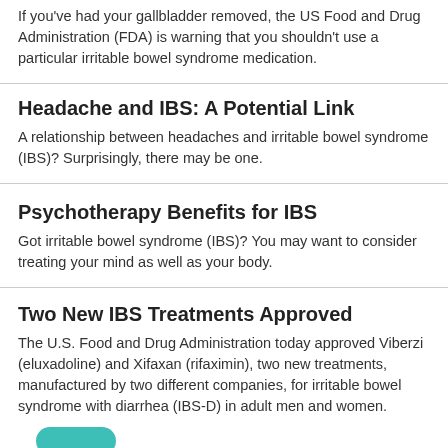If you've had your gallbladder removed, the US Food and Drug Administration (FDA) is warning that you shouldn't use a particular irritable bowel syndrome medication.
Headache and IBS: A Potential Link
A relationship between headaches and irritable bowel syndrome (IBS)? Surprisingly, there may be one.
Psychotherapy Benefits for IBS
Got irritable bowel syndrome (IBS)? You may want to consider treating your mind as well as your body.
Two New IBS Treatments Approved
The U.S. Food and Drug Administration today approved Viberzi (eluxadoline) and Xifaxan (rifaximin), two new treatments, manufactured by two different companies, for irritable bowel syndrome with diarrhea (IBS-D) in adult men and women.